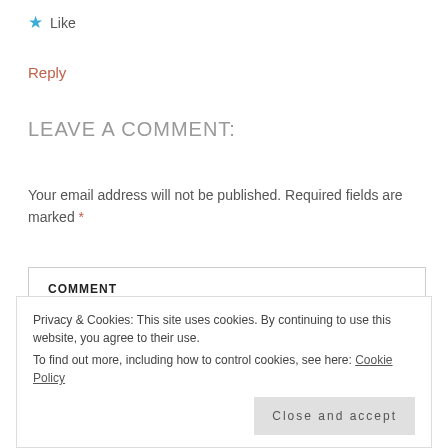★ Like
Reply
LEAVE A COMMENT:
Your email address will not be published. Required fields are marked *
COMMENT
*
Privacy & Cookies: This site uses cookies. By continuing to use this website, you agree to their use.
To find out more, including how to control cookies, see here: Cookie Policy
Close and accept